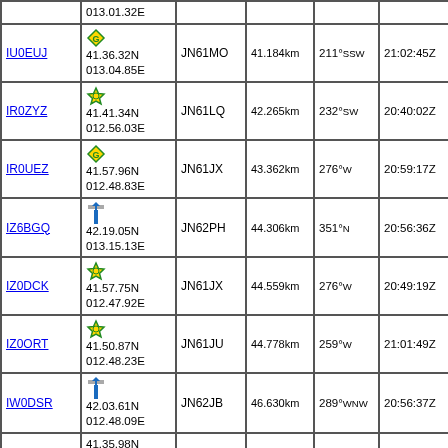| Call | Position/Icon | Grid | Distance | Direction | Time | Info |
| --- | --- | --- | --- | --- | --- | --- |
|  | 013.01.32E |  |  |  |  |  |
| IU0EUJ | 41.36.32N
013.04.85E | JN61MO | 41.184km | 211°SSW | 21:02:45Z | 2m V
+0.0 |
| IR0ZYZ | 41.41.34N
012.56.03E | JN61LQ | 42.265km | 232°SW | 20:40:02Z | U=1...
THE |
| IR0UEZ | 41.57.96N
012.48.83E | JN61JX | 43.362km | 276°W | 20:59:17Z | 440 ...
+1.6...
Star( |
| IZ6BGQ | 42.19.05N
013.15.13E | JN62PH | 44.306km | 351°N | 20:56:36Z | IT-D
Torn
CC1 |
| IZ0DCK | 41.57.75N
012.47.92E | JN61JX | 44.559km | 276°W | 20:49:19Z | APR
IZ0... |
| IZ0ORT | 41.50.87N
012.48.23E | JN61JU | 44.778km | 259°W | 21:01:49Z | Digi
Digi |
| IW0DSR | 42.03.61N
012.48.09E | JN62JB | 46.630km | 289°WNW | 20:56:37Z | IT-D
Genn
CC1 |
|  | 41.35.98N |  |  |  |  | IR0... |